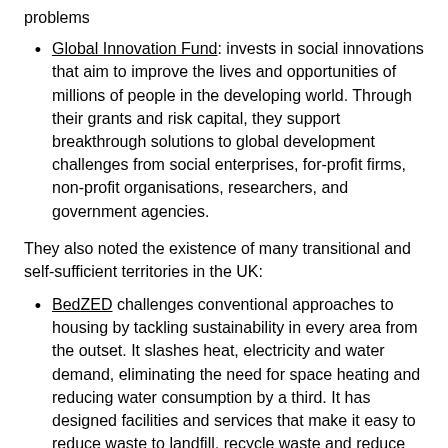problems
Global Innovation Fund: invests in social innovations that aim to improve the lives and opportunities of millions of people in the developing world. Through their grants and risk capital, they support breakthrough solutions to global development challenges from social enterprises, for-profit firms, non-profit organisations, researchers, and government agencies.
They also noted the existence of many transitional and self-sufficient territories in the UK:
BedZED challenges conventional approaches to housing by tackling sustainability in every area from the outset. It slashes heat, electricity and water demand, eliminating the need for space heating and reducing water consumption by a third. It has designed facilities and services that make it easy to reduce waste to landfill, recycle waste and reduce